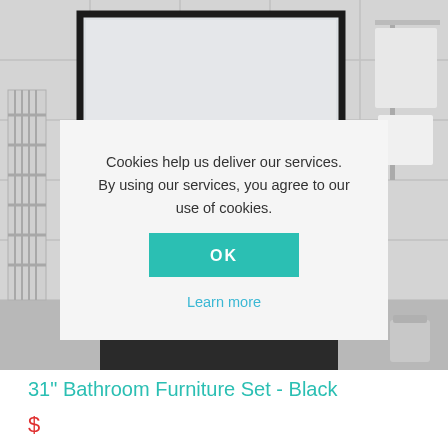[Figure (photo): Bathroom scene with white tile walls, a rectangular black-framed mirror mounted on the wall, a towel rack on the right with white towels, a ladder-style towel radiator on the left, and a dark vanity unit at the bottom. A cookie consent dialog box overlays the center of the image.]
Cookies help us deliver our services. By using our services, you agree to our use of cookies.
OK
Learn more
31" Bathroom Furniture Set - Black